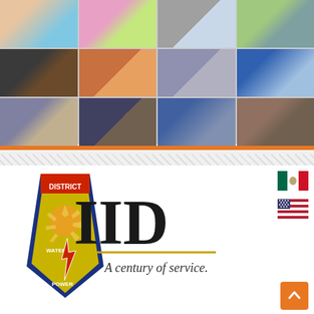[Figure (photo): 3x4 grid of news/event photos including cultural event, ceremony, street scene, produce market, government meeting, fire/protest, law enforcement, VOTE sign, smoke/fire, office scene, government chamber, border fence]
[Figure (logo): IID (Imperial Irrigation District) logo with shield emblem showing DISTRICT, WATER, POWER text, and 'A century of service.' tagline, plus Mexican and US flags and scroll-to-top button]